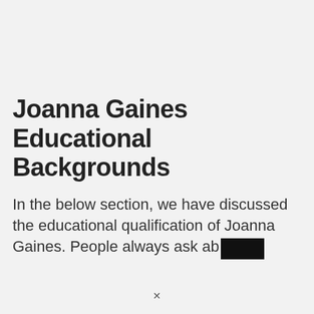Joanna Gaines Educational Backgrounds
In the below section, we have discussed the educational qualification of Joanna Gaines. People always ask ab[redacted]